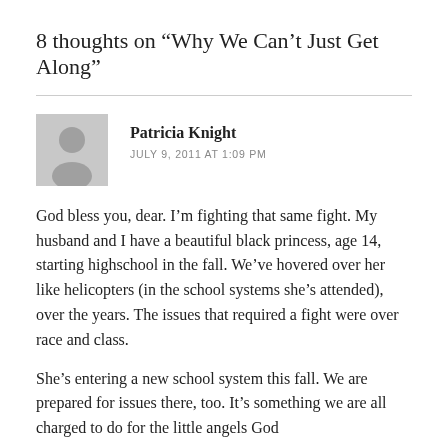8 thoughts on “Why We Can’t Just Get Along”
Patricia Knight
JULY 9, 2011 AT 1:09 PM
God bless you, dear. I’m fighting that same fight. My husband and I have a beautiful black princess, age 14, starting highschool in the fall. We’ve hovered over her like helicopters (in the school systems she’s attended), over the years. The issues that required a fight were over race and class.
She’s entering a new school system this fall. We are prepared for issues there, too. It’s something we are all charged to do for the little angels God